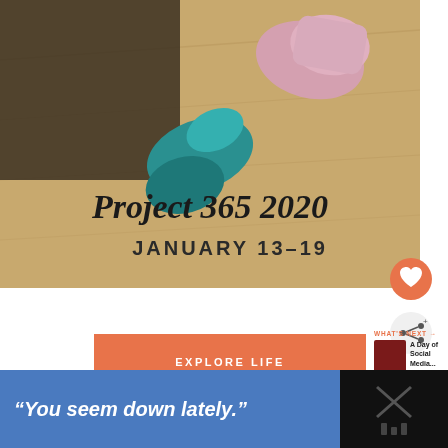[Figure (photo): Photograph of paint tubes (pink and teal) on a wooden surface with text overlay 'Project 365 2020' in cursive and 'JANUARY 13-19' in uppercase serif lettering]
[Figure (other): Circular orange heart/like button icon]
[Figure (other): Circular share/forward button icon]
EXPLORE LIFE
WHAT'S NEXT → A Day of Social Media...
"You seem down lately."